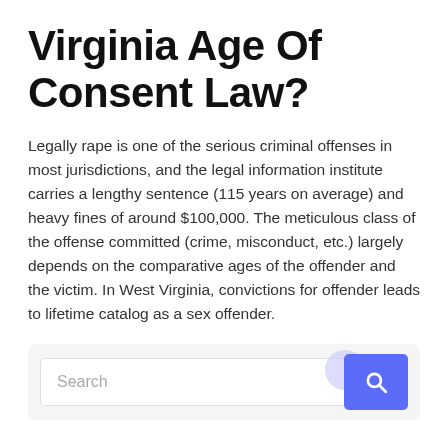Virginia Age Of Consent Law?
Legally rape is one of the serious criminal offenses in most jurisdictions, and the legal information institute carries a lengthy sentence (115 years on average) and heavy fines of around $100,000. The meticulous class of the offense committed (crime, misconduct, etc.) largely depends on the comparative ages of the offender and the victim. In West Virginia, convictions for offender leads to lifetime catalog as a sex offender.
[Figure (other): Search bar widget with a text input field showing placeholder 'Search' and a blue button with a magnifying glass icon on the right.]